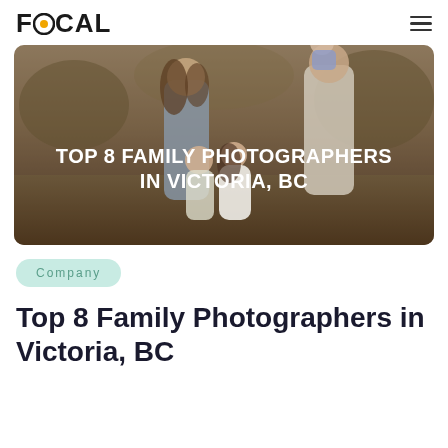FOCAL
[Figure (photo): Hero image of a family outdoors in a field. A mother with long wavy hair holds a young child, while a father in a white shirt carries a toddler on his shoulders. A daughter in a white dress sits/kneels in front. Warm earthy tones. White bold text overlay reads: TOP 8 FAMILY PHOTOGRAPHERS IN VICTORIA, BC]
Company
Top 8 Family Photographers in Victoria, BC